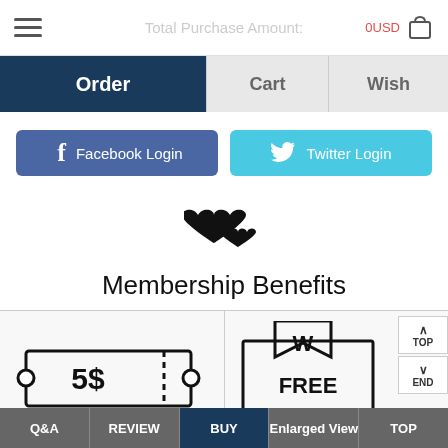Total Purchase Amount: 0USD
Order | Cart | Wish
[Figure (screenshot): Facebook Login button with Facebook icon]
[Figure (screenshot): Twitter Login button with Twitter bird icon]
[Figure (illustration): Two hearts icon representing membership]
Membership Benefits
[Figure (illustration): Coupon icon showing 5$ discount coupon with dashed tear line]
[Figure (illustration): Free Delivery icon showing a package with bookmark]
Q&A  REVIEW  BUY  Enlarged View  TOP